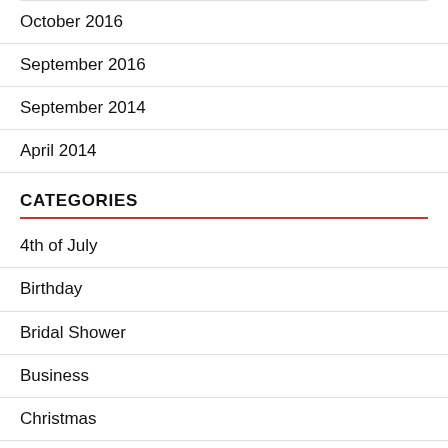October 2016
September 2016
September 2014
April 2014
CATEGORIES
4th of July
Birthday
Bridal Shower
Business
Christmas
Crafts & DIYS
Easter Sunday
Eid